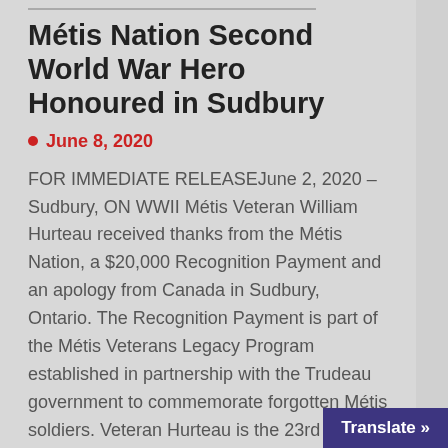Métis Nation Second World War Hero Honoured in Sudbury
June 8, 2020
FOR IMMEDIATE RELEASEJune 2, 2020 – Sudbury, ON WWII Métis Veteran William Hurteau received thanks from the Métis Nation, a $20,000 Recognition Payment and an apology from Canada in Sudbury, Ontario.  The Recognition Payment is part of the Métis Veterans Legacy Program established in partnership with the Trudeau government to commemorate forgotten Métis soldiers.   Veteran Hurteau is the 23rd WWII Métis Veteran to receive a Recognition Payment as part of the Legacy Program.  Métis Nation Minister r
Translate »